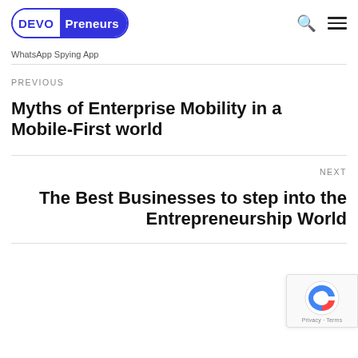DEVOPreneurs
WhatsApp Spying App
PREVIOUS
Myths of Enterprise Mobility in a Mobile-First world
NEXT
The Best Businesses to step into the Entrepreneurship World